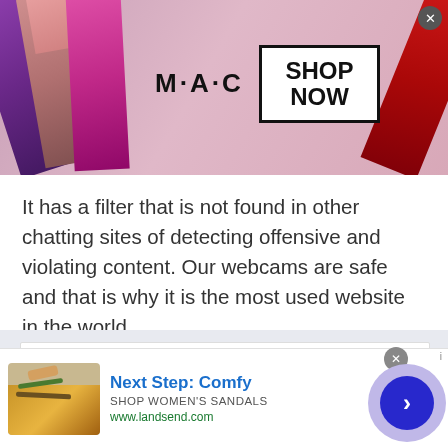[Figure (photo): MAC Cosmetics advertisement banner showing multiple lipsticks in purple, pink, magenta and red colors with MAC logo and SHOP NOW button]
It has a filter that is not found in other chatting sites of detecting offensive and violating content. Our webcams are safe and that is why it is the most used website in the world.
Chat with people of Malawi
Remember those old days when talking to a
[Figure (screenshot): Bottom advertisement for Lands End sandals: Next Step: Comfy - SHOP WOMEN'S SANDALS - www.landsend.com]